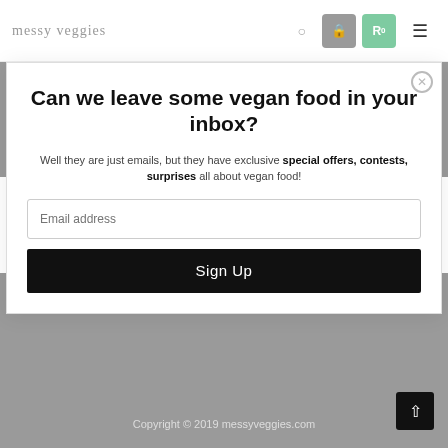messy veggies
ABOUT & CONTACT
ADVERTISE
APPLY
Can we leave some vegan food in your inbox?
Well they are just emails, but they have exclusive special offers, contests, surprises all about vegan food!
Copyright © 2019 messyveggies.com